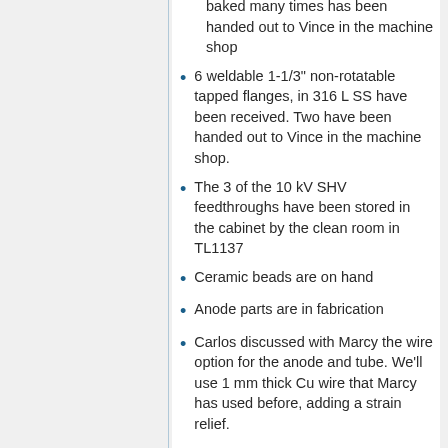baked many times has been handed out to Vince in the machine shop
6 weldable 1-1/3" non-rotatable tapped flanges, in 316 L SS have been received. Two have been handed out to Vince in the machine shop.
The 3 of the 10 kV SHV feedthroughs have been stored in the cabinet by the clean room in TL1137
Ceramic beads are on hand
Anode parts are in fabrication
Carlos discussed with Marcy the wire option for the anode and tube. We'll use 1 mm thick Cu wire that Marcy has used before, adding a strain relief.